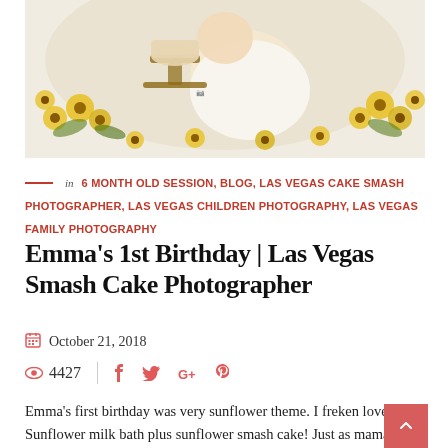[Figure (photo): Baby girl in white dress sitting near a sunflower-decorated cake on a white background, with yellow sunflowers arranged around her]
in 6 MONTH OLD SESSION, BLOG, LAS VEGAS CAKE SMASH PHOTOGRAPHER, LAS VEGAS CHILDREN PHOTOGRAPHY, LAS VEGAS FAMILY PHOTOGRAPHY
Emma's 1st Birthday | Las Vegas Smash Cake Photographer
October 21, 2018
4427
Emma's first birthday was very sunflower theme. I freken loved it! Sunflower milk bath plus sunflower smash cake! Just as mama requested, simple and cute. Happy birthday baby girl!